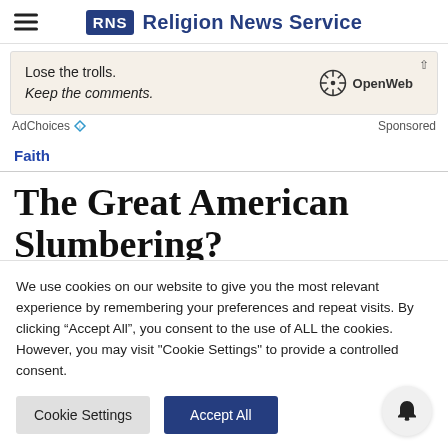RNS Religion News Service
[Figure (screenshot): Advertisement banner: 'Lose the trolls. Keep the comments.' with OpenWeb logo]
AdChoices  Sponsored
Faith
The Great American Slumbering?
We use cookies on our website to give you the most relevant experience by remembering your preferences and repeat visits. By clicking "Accept All", you consent to the use of ALL the cookies. However, you may visit "Cookie Settings" to provide a controlled consent.